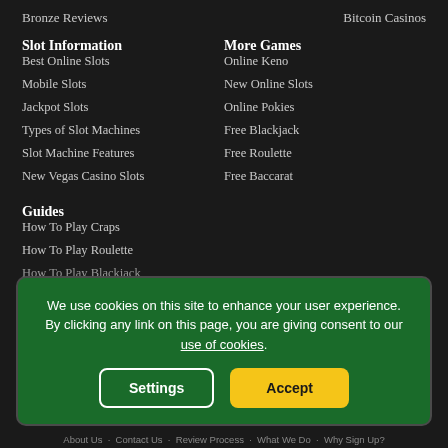Bronze Reviews
Bitcoin Casinos
Slot Information
More Games
Best Online Slots
Online Keno
Mobile Slots
New Online Slots
Jackpot Slots
Online Pokies
Types of Slot Machines
Free Blackjack
Slot Machine Features
Free Roulette
New Vegas Casino Slots
Free Baccarat
Guides
How To Play Craps
How To Play Roulette
We use cookies on this site to enhance your user experience. By clicking any link on this page, you are giving consent to our use of cookies.
About Us   Contact Us   Review Process   What We Do   Why Sign Up?